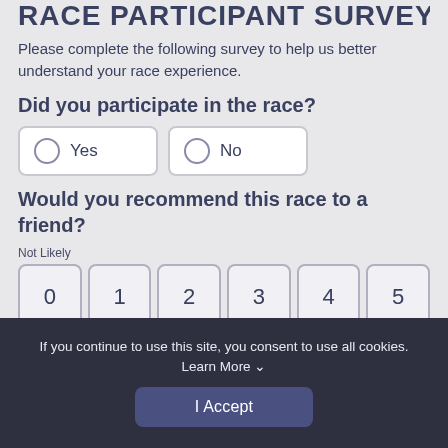RACE PARTICIPANT SURVEY
Please complete the following survey to help us better understand your race experience.
Did you participate in the race?
Yes
No
Would you recommend this race to a friend?
Not Likely
0
1
2
3
4
5
Very Likely
If you continue to use this site, you consent to use all cookies. Learn More ∨
I Accept